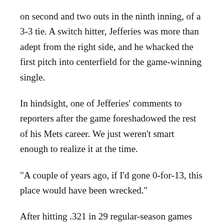on second and two outs in the ninth inning, of a 3-3 tie. A switch hitter, Jefferies was more than adept from the right side, and he whacked the first pitch into centerfield for the game-winning single.
In hindsight, one of Jefferies' comments to reporters after the game foreshadowed the rest of his Mets career. We just weren't smart enough to realize it at the time.
"A couple of years ago, if I'd gone 0-for-13, this place would have been wrecked."
After hitting .321 in 29 regular-season games and .333 in the playoffs, the expectations were tremendous for Jefferies, who was shifted to second base, for the 1989 season. He ran into a bit of a roadblock though, in the form of a 1-for-